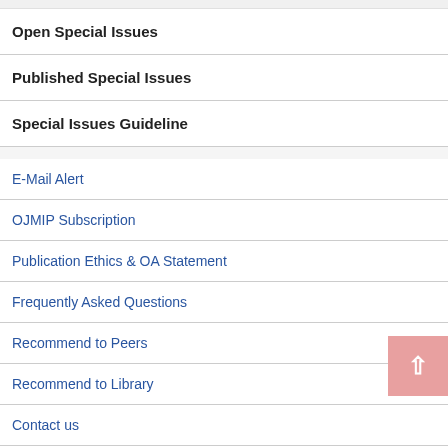Open Special Issues
Published Special Issues
Special Issues Guideline
E-Mail Alert
OJMIP Subscription
Publication Ethics & OA Statement
Frequently Asked Questions
Recommend to Peers
Recommend to Library
Contact us